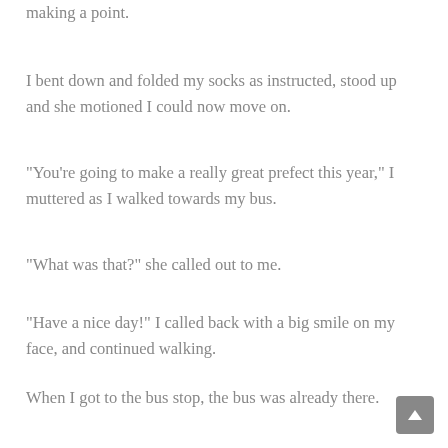making a point.
I bent down and folded my socks as instructed, stood up and she motioned I could now move on.
“You’re going to make a really great prefect this year,” I muttered as I walked towards my bus.
“What was that?” she called out to me.
“Have a nice day!” I called back with a big smile on my face, and continued walking.
When I got to the bus stop, the bus was already there.  Some of the girls were already sitting in their designated positions.  When I say the positions were designated, I don’t mean by the school, but by the immediately evident social hierarchy.
The cool seniors took the back seat, anyone who was